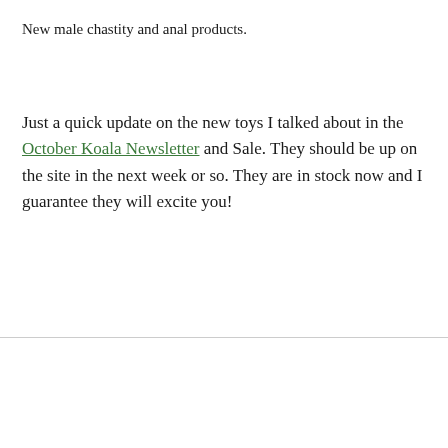New male chastity and anal products.
Just a quick update on the new toys I talked about in the October Koala Newsletter and Sale. They should be up on the site in the next week or so. They are in stock now and I guarantee they will excite you!
EARLY ACCESS TO THE OCTOBER KOALA